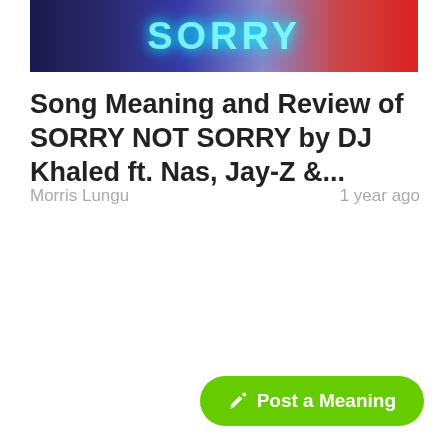[Figure (photo): Thumbnail image with neon cyan text spelling SORRY on a dark blue background with red/colorful elements on the right side]
Song Meaning and Review of SORRY NOT SORRY by DJ Khaled ft. Nas, Jay-Z &...
Morris Lungu   1 year ago
✏ Post a Meaning